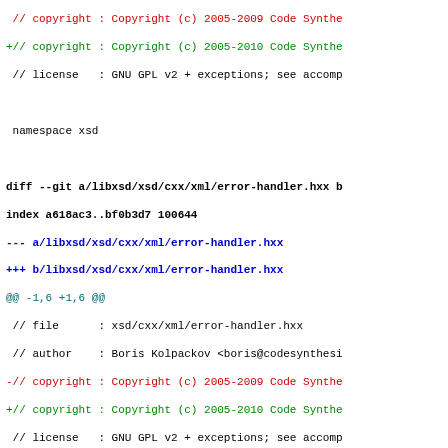// copyright : Copyright (c) 2005-2009 Code Synthe
+// copyright : Copyright (c) 2005-2010 Code Synthe
 // license   : GNU GPL v2 + exceptions; see accomp

 namespace xsd

diff --git a/libxsd/xsd/cxx/xml/error-handler.hxx b ...
index a618ac3..bf0b3d7 100644
--- a/libxsd/xsd/cxx/xml/error-handler.hxx
+++ b/libxsd/xsd/cxx/xml/error-handler.hxx
@@ -1,6 +1,6 @@
 // file      : xsd/cxx/xml/error-handler.hxx
 // author    : Boris Kolpackov <boris@codesynthesi
-// copyright : Copyright (c) 2005-2009 Code Synthe
+// copyright : Copyright (c) 2005-2010 Code Synthe
 // license   : GNU GPL v2 + exceptions; see accomp

 #ifndef XSD_CXX_XML_ERROR_HANDLER_HXX

diff --git a/libxsd/xsd/cxx/xml/exceptions.hxx b/li...
index 6c2e029..1ed93d8 100644
--- a/libxsd/xsd/cxx/xml/exceptions.hxx
+++ b/libxsd/xsd/cxx/xml/exceptions.hxx
@@ -1,6 +1,6 @@
 // file      : xsd/cxx/xml/exceptions.hxx
 // author    : Boris Kolpackov <boris@codesynthesi
-// copyright : Copyright (c) 2005-2009 Code Synthe
+// copyright : Copyright (c) 2005-2010 Code Synthe
 // license   : GNU GPL v2 + exceptions; see accomp

 #ifndef XSD_CXX_XML_EXCEPTIONS_HXX